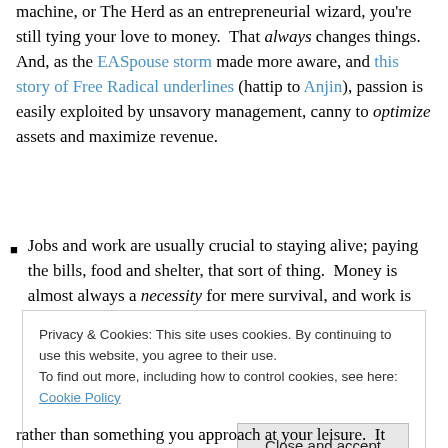machine, or The Herd as an entrepreneurial wizard, you're still tying your love to money. That always changes things. And, as the EASpouse storm made more aware, and this story of Free Radical underlines (hattip to Anjin), passion is easily exploited by unsavory management, canny to optimize assets and maximize revenue.
Jobs and work are usually crucial to staying alive; paying the bills, food and shelter, that sort of thing. Money is almost always a necessity for mere survival, and work is usually how you get it. That's healthy, as I
Privacy & Cookies: This site uses cookies. By continuing to use this website, you agree to their use. To find out more, including how to control cookies, see here: Cookie Policy
Close and accept
rather than something you approach at your leisure. It